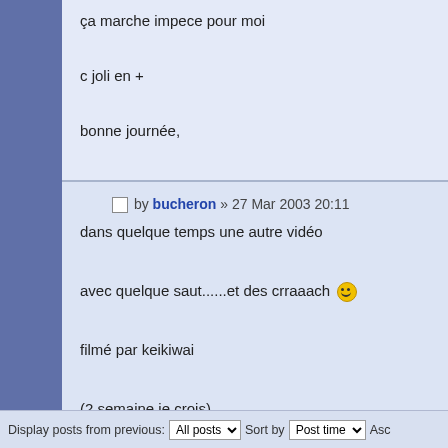ça marche impece pour moi

c joli en +

bonne journée,

KruL
173°F - 183°F - Easy Jungle
☐ by bucheron » 27 Mar 2003 20:11
dans quelque temps une autre vidéo
avec quelque saut......et des crraaach 😀
filmé par keikiwai
(2 semaine je crois)
Bubuche pour les skwaleurs<br>une panther 168 avec fix 4x4 ca passe partout<br>parcontre c'est dure d'éviter les arbres avec la P183<br>Bulle (CH
Display posts from previous: All posts Sort by Post time Asc